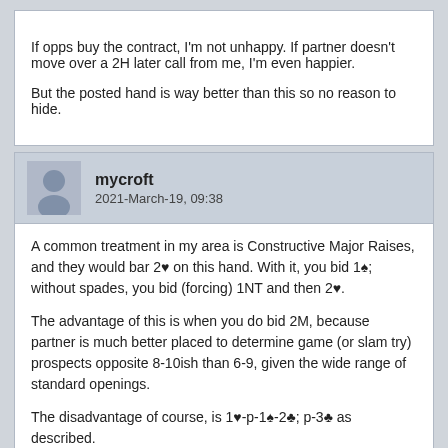If opps buy the contract, I'm not unhappy. If partner doesn't move over a 2H later call from me, I'm even happier.

But the posted hand is way better than this so no reason to hide.
mycroft
2021-March-19, 09:38
A common treatment in my area is Constructive Major Raises, and they would bar 2♥ on this hand. With it, you bid 1♠; without spades, you bid (forcing) 1NT and then 2♥.

The advantage of this is when you do bid 2M, because partner is much better placed to determine game (or slam try) prospects opposite 8-10ish than 6-9, given the wide range of standard openings.

The disadvantage of course, is 1♥-p-1♠-2♣; p-3♣ as described.

Of course, you're in better shape after 1♥-p-1♠-2♣; X (3 spades)-3♣ than you are had you bid 2♥ and partner had to make the decision without either the double fit 3 spades and club tolerance.